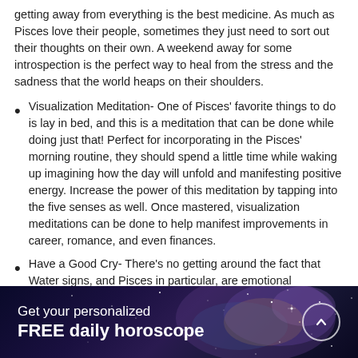getting away from everything is the best medicine. As much as Pisces love their people, sometimes they just need to sort out their thoughts on their own. A weekend away for some introspection is the perfect way to heal from the stress and the sadness that the world heaps on their shoulders.
Visualization Meditation- One of Pisces' favorite things to do is lay in bed, and this is a meditation that can be done while doing just that! Perfect for incorporating in the Pisces' morning routine, they should spend a little time while waking up imagining how the day will unfold and manifesting positive energy. Increase the power of this meditation by tapping into the five senses as well. Once mastered, visualization meditations can be done to help manifest improvements in career, romance, and even finances.
Have a Good Cry- There's no getting around the fact that Water signs, and Pisces in particular, are emotional
Get your personalized FREE daily horoscope